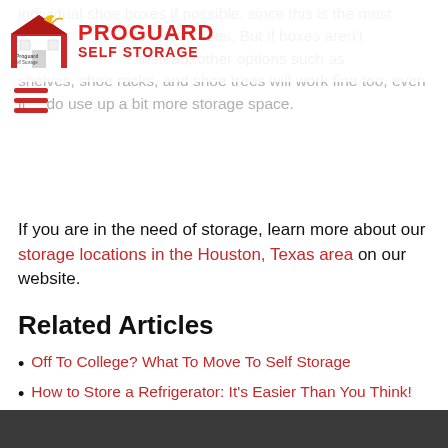PROGUARD SELF STORAGE
individual shoe boxes if possible, since this is the most way to store shoes. But if boxes aren't instead, other options such as shelves, shoe racks, and shoe trees will work fine too, even if do use up a bit more storage space.
If you are in the need of storage, learn more about our storage locations in the Houston, Texas area on our website.
Related Articles
Off To College? What To Move To Self Storage
How to Store a Refrigerator: It's Easier Than You Think!
Complete Guide: Storing Clothes for the Long Term
Think Twice Before Throwing Away Outgrown Baby Items
Store It Or Trash It? How Self-Storage Can Help With Unused Items
Benefits Of Using Proguard Self-Storage For Pharmaceuticals